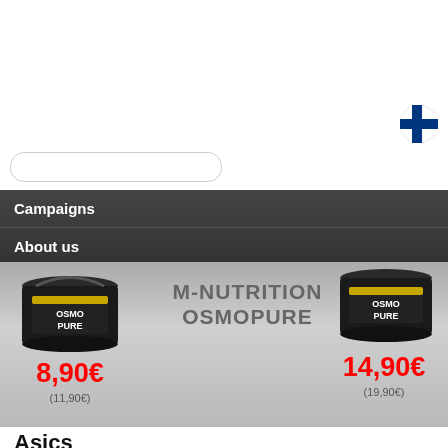[Figure (screenshot): Finnish flag icon (blue cross on white circle) in top right area]
[Figure (screenshot): White rounded search bar input field]
Campaigns
About us
[Figure (infographic): M-NUTRITION OSMOPURE promotional banner with two product images (black tubs labeled OSMO PURE) and prices: 8,90€ (was 11,90€) on left and 14,90€ (was 19,90€) on right, gray gradient background]
Asics